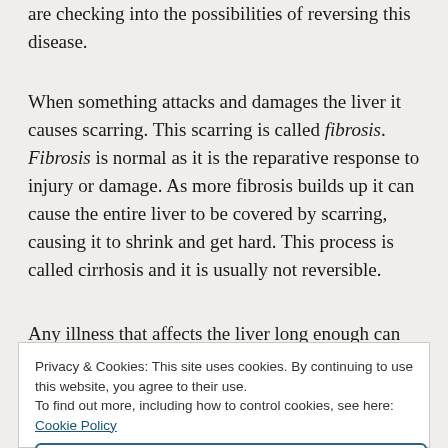are checking into the possibilities of reversing this disease.
When something attacks and damages the liver it causes scarring. This scarring is called fibrosis. Fibrosis is normal as it is the reparative response to injury or damage. As more fibrosis builds up it can cause the entire liver to be covered by scarring, causing it to shrink and get hard. This process is called cirrhosis and it is usually not reversible.
Any illness that affects the liver long enough can
Privacy & Cookies: This site uses cookies. By continuing to use this website, you agree to their use.
To find out more, including how to control cookies, see here: Cookie Policy
Close and accept
are studies now showing that it can also be passed